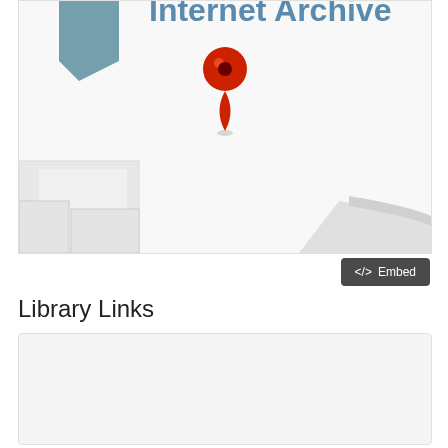[Figure (map): Google Maps style map showing Internet Archive location with a red location pin marker. The map shows streets/building outlines in light gray on white background. The text 'Internet Archive' is visible at the top of the map cropped area. A red teardrop-shaped map pin with a dark dot is positioned in the upper-center area.]
<> Embed
Library Links
[Figure (infographic): A light gray box containing social media icons (Twitter bird, Facebook f, YouTube play button) in blue on the right side, and a white sub-box with a blue info circle icon and the text 'Books' in blue.]